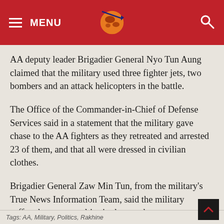[Figure (logo): Website header with red background, hamburger menu icon and MENU text on left, circular globe/planet logo in center, search icon on right]
AA deputy leader Brigadier General Nyo Tun Aung claimed that the military used three fighter jets, two bombers and an attack helicopters in the battle.
The Office of the Commander-in-Chief of Defense Services said in a statement that the military gave chase to the AA fighters as they retreated and arrested 23 of them, and that all were dressed in civilian clothes.
Brigadier General Zaw Min Tun, from the military's True News Information Team, said the military suffered some casualties in the attack.
Translated from Burmese by Thet Ko Ko.
Tags: AA, Military, Politics, Rakhine